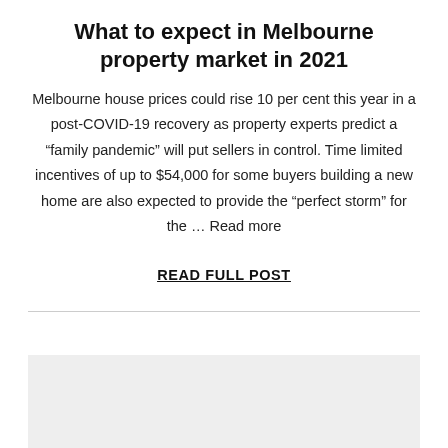What to expect in Melbourne property market in 2021
Melbourne house prices could rise 10 per cent this year in a post-COVID-19 recovery as property experts predict a “family pandemic” will put sellers in control. Time limited incentives of up to $54,000 for some buyers building a new home are also expected to provide the “perfect storm” for the … Read more
READ FULL POST
[Figure (other): Gray placeholder box at the bottom of the page]